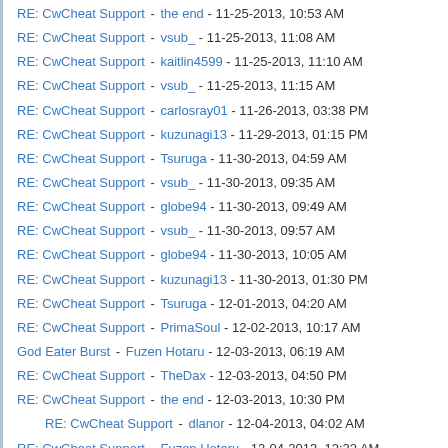RE: CwCheat Support - the end - 11-25-2013, 10:53 AM
RE: CwCheat Support - vsub_ - 11-25-2013, 11:08 AM
RE: CwCheat Support - kaitlin4599 - 11-25-2013, 11:10 AM
RE: CwCheat Support - vsub_ - 11-25-2013, 11:15 AM
RE: CwCheat Support - carlosray01 - 11-26-2013, 03:38 PM
RE: CwCheat Support - kuzunagi13 - 11-29-2013, 01:15 PM
RE: CwCheat Support - Tsuruga - 11-30-2013, 04:59 AM
RE: CwCheat Support - vsub_ - 11-30-2013, 09:35 AM
RE: CwCheat Support - globe94 - 11-30-2013, 09:49 AM
RE: CwCheat Support - vsub_ - 11-30-2013, 09:57 AM
RE: CwCheat Support - globe94 - 11-30-2013, 10:05 AM
RE: CwCheat Support - kuzunagi13 - 11-30-2013, 01:30 PM
RE: CwCheat Support - Tsuruga - 12-01-2013, 04:20 AM
RE: CwCheat Support - PrimaSoul - 12-02-2013, 10:17 AM
God Eater Burst - Fuzen Hotaru - 12-03-2013, 06:19 AM
RE: CwCheat Support - TheDax - 12-03-2013, 04:50 PM
RE: CwCheat Support - the end - 12-03-2013, 10:30 PM
RE: CwCheat Support - dlanor - 12-04-2013, 04:02 AM (indented)
RE: CwCheat Support - Fuzen Hotaru - 12-04-2013, 12:22 AM
RE: CwCheat Support - TheDax - 12-04-2013, 04:14 AM
RE: CwCheat Support - the end - 12-04-2013, 12:03 PM
RE: CwCheat Support - dlanor - 12-05-2013, 05:06 PM (indented)
RE: CwCheat Support - TheDax - 12-05-2013, 05:07 PM
RE: CwCheat Support - dlanor - 12-05-2013, 05:17 PM (indented)
RE: CwCheat Support - TheDax - 12-05-2013, 05:18 PM